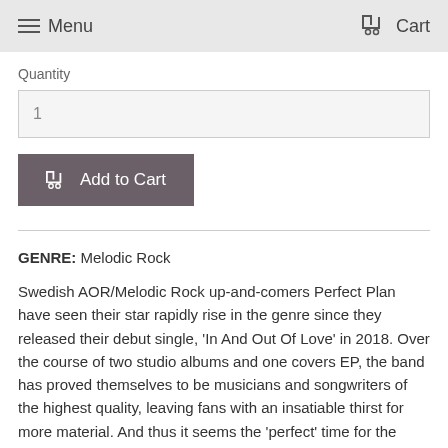Menu  Cart
Quantity
1
Add to Cart
GENRE: Melodic Rock
Swedish AOR/Melodic Rock up-and-comers Perfect Plan have seen their star rapidly rise in the genre since they released their debut single, 'In And Out Of Love' in 2018. Over the course of two studio albums and one covers EP, the band has proved themselves to be musicians and songwriters of the highest quality, leaving fans with an insatiable thirst for more material. And thus it seems the 'perfect' time for the band to